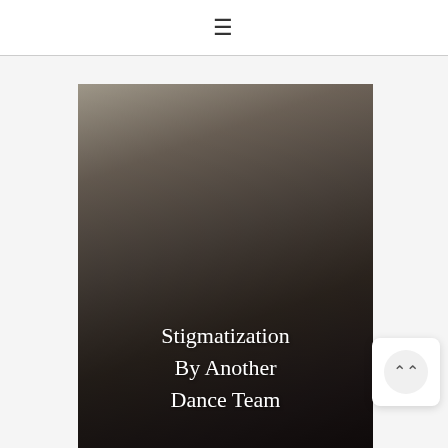☰
[Figure (photo): Group of female dancers wearing white sweatshirts with curly/voluminous hair, posed in an indoor setting. The image is dark-toned. Overlaid white serif text reads 'Stigmatization By Another Dance Team'.]
Stigmatization By Another Dance Team